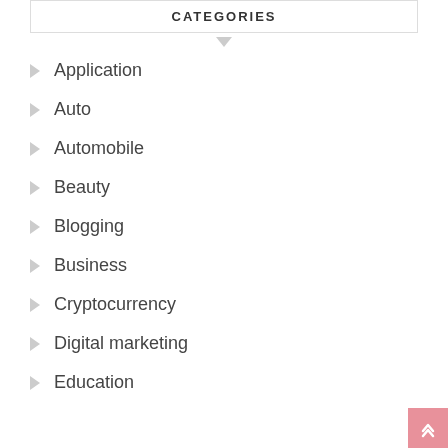CATEGORIES
Application
Auto
Automobile
Beauty
Blogging
Business
Cryptocurrency
Digital marketing
Education